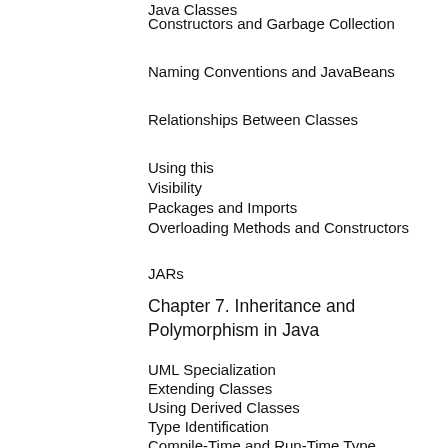Java Classes
Constructors and Garbage Collection
Naming Conventions and JavaBeans
Relationships Between Classes
Using this
Visibility
Packages and Imports
Overloading Methods and Constructors
JARs
Chapter 7. Inheritance and Polymorphism in Java
UML Specialization
Extending Classes
Using Derived Classes
Type Identification
Compile-Time and Run-Time Type
Polymorphism